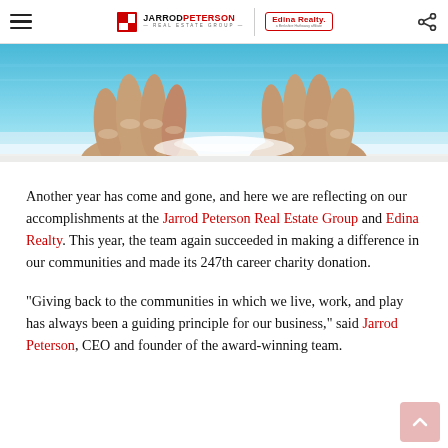JARROD PETERSON REAL ESTATE GROUP | Edina Realty
[Figure (photo): Close-up photo of hands gripping a pool edge, with blue water visible in the background.]
Another year has come and gone, and here we are reflecting on our accomplishments at the Jarrod Peterson Real Estate Group and Edina Realty. This year, the team again succeeded in making a difference in our communities and made its 247th career charity donation.
“Giving back to the communities in which we live, work, and play has always been a guiding principle for our business,” said Jarrod Peterson, CEO and founder of the award-winning team.